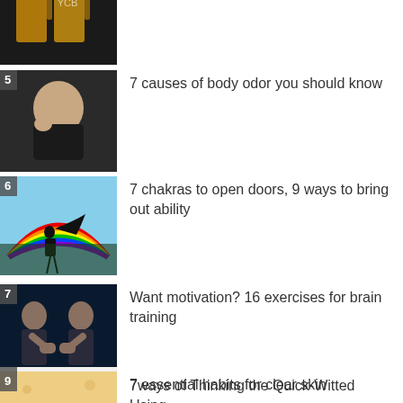[Figure (photo): Partial view of beer mugs at top of page, cropped]
[Figure (photo): Badge number 5. Bald man holding his nose, presumably reacting to bad smell]
7 causes of body odor you should know
[Figure (photo): Badge number 6. Silhouette of a girl with flowing hair against a rainbow and sky background]
7 chakras to open doors, 9 ways to bring out ability
[Figure (photo): Badge number 7. Two muscular men facing each other with fists together in a dark blue background]
Want motivation? 16 exercises for brain training
[Figure (photo): Badge number 8. Decorative mechanical gears in teal and white/grey tones]
7ways of Thinking the Quick-Witted Using
[Figure (photo): Badge number 9. Partial view of clear/yellow skin texture]
7 essential habits for clear skin